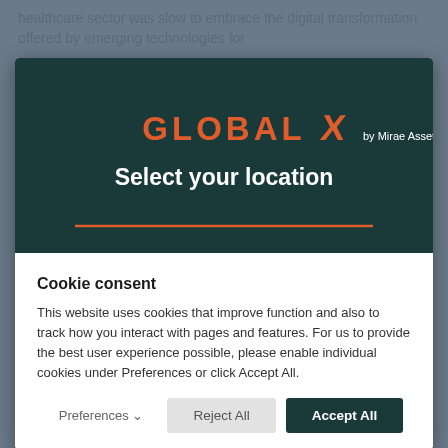healthcare sector was slow to embrace the digital transformation offered by emerging technologies for
[Figure (screenshot): Global X by Mirae Asset logo on dark teal background with 'Select your location' text and orange underline]
Cookie consent
This website uses cookies that improve function and also to track how you interact with pages and features. For us to provide the best user experience possible, please enable individual cookies under Preferences or click Accept All.